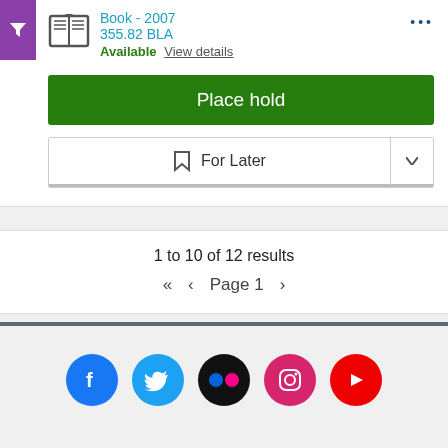Book - 2007
355.82 BLA
Available View details
Place hold
For Later
1 to 10 of 12 results
« < Page 1 >
[Figure (other): Social media icons for Facebook, Twitter, Flickr, Instagram, YouTube]